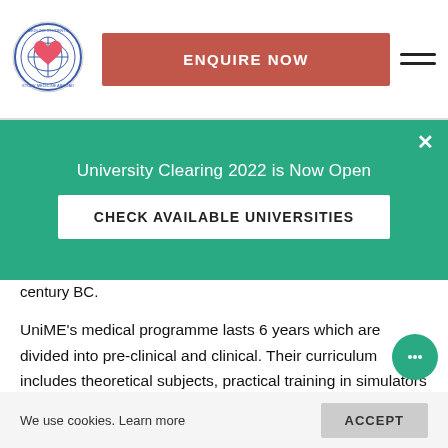[Figure (logo): Medlink Students Study Medicine Abroad circular logo with globe and heart]
ENQUIRE NOW
University Clearing 2022 is Now Open
CHECK AVAILABLE UNIVERSITIES
century BC.
UniME's medical programme lasts 6 years which are divided into pre-clinical and clinical. Their curriculum includes theoretical subjects, practical training in simulators and hospitals associated with the university. Also, there are clerkships every summer, which are obligatory.
The purpose of the clerkships is to put you in real
We use cookies. Learn more
ACCEPT